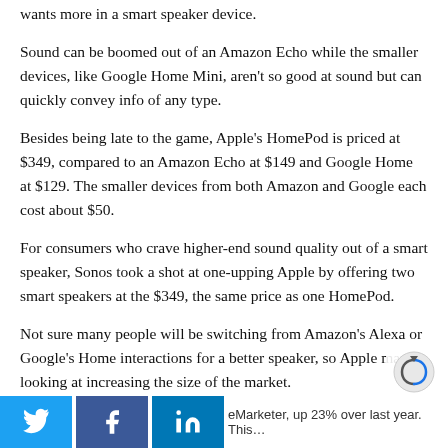wants more in a smart speaker device.
Sound can be boomed out of an Amazon Echo while the smaller devices, like Google Home Mini, aren't so good at sound but can quickly convey info of any type.
Besides being late to the game, Apple's HomePod is priced at $349, compared to an Amazon Echo at $149 and Google Home at $129. The smaller devices from both Amazon and Google each cost about $50.
For consumers who crave higher-end sound quality out of a smart speaker, Sonos took a shot at one-upping Apple by offering two smart speakers at the $349, the same price as one HomePod.
Not sure many people will be switching from Amazon's Alexa or Google's Home interactions for a better speaker, so Apple may be looking at increasing the size of the market.
This year, 30 million people in the US, will use an Amazon… eMarketer, up 23% over last year. This…